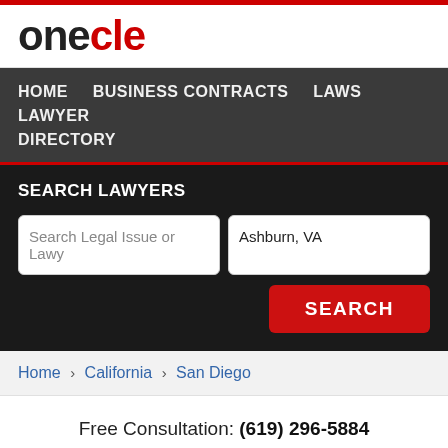onecle
HOME   BUSINESS CONTRACTS   LAWS   LAWYER DIRECTORY
SEARCH LAWYERS
Search Legal Issue or Lawy
Ashburn, VA
SEARCH
Home › California › San Diego
Free Consultation: (619) 296-5884
Tap to Call This Lawyer